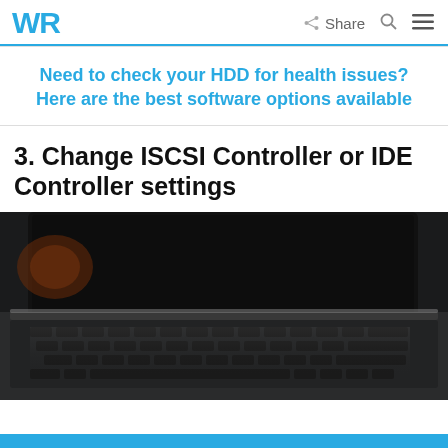WR | Share
Need to check your HDD for health issues? Here are the best software options available
3. Change ISCSI Controller or IDE Controller settings
[Figure (photo): Close-up photo of a laptop keyboard and screen, dark toned, viewed from a low angle showing the keyboard and the edge of the dark screen.]